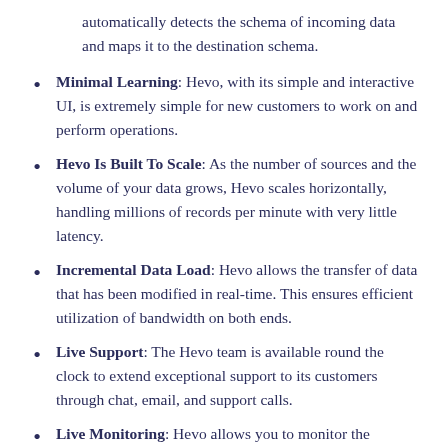automatically detects the schema of incoming data and maps it to the destination schema.
Minimal Learning: Hevo, with its simple and interactive UI, is extremely simple for new customers to work on and perform operations.
Hevo Is Built To Scale: As the number of sources and the volume of your data grows, Hevo scales horizontally, handling millions of records per minute with very little latency.
Incremental Data Load: Hevo allows the transfer of data that has been modified in real-time. This ensures efficient utilization of bandwidth on both ends.
Live Support: The Hevo team is available round the clock to extend exceptional support to its customers through chat, email, and support calls.
Live Monitoring: Hevo allows you to monitor the